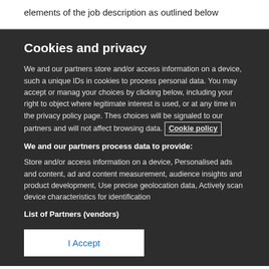elements of the job description as outlined below
Cookies and privacy
We and our partners store and/or access information on a device, such as unique IDs in cookies to process personal data. You may accept or manage your choices by clicking below, including your right to object where legitimate interest is used, or at any time in the privacy policy page. These choices will be signaled to our partners and will not affect browsing data. Cookie policy
We and our partners process data to provide:
Store and/or access information on a device, Personalised ads and content, ad and content measurement, audience insights and product development, Use precise geolocation data, Actively scan device characteristics for identification
List of Partners (vendors)
I Accept